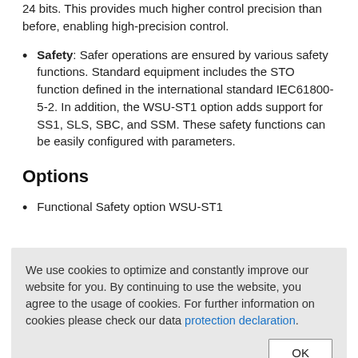24 bits. This provides much higher control precision than before, enabling high-precision control.
Safety: Safer operations are ensured by various safety functions. Standard equipment includes the STO function defined in the international standard IEC61800-5-2. In addition, the WSU-ST1 option adds support for SS1, SLS, SBC, and SSM. These safety functions can be easily configured with parameters.
Options
Functional Safety option WSU-ST1
We use cookies to optimize and constantly improve our website for you. By continuing to use the website, you agree to the usage of cookies. For further information on cookies please check our data protection declaration.
Documentation